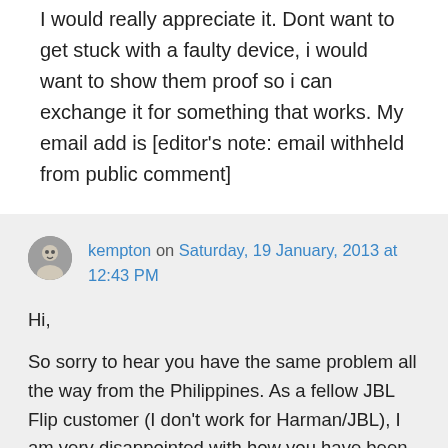I would really appreciate it. Dont want to get stuck with a faulty device, i would want to show them proof so i can exchange it for something that works. My email add is [editor's note: email withheld from public comment]
kempton on Saturday, 19 January, 2013 at 12:43 PM

Hi,

So sorry to hear you have the same problem all the way from the Philippines. As a fellow JBL Flip customer (I don't work for Harman/JBL), I am very disappointed with how you have been treaded by the JBL